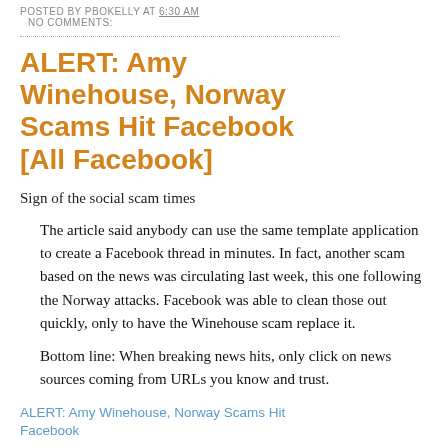POSTED BY PBOKELLY AT 6:30 AM
NO COMMENTS:
ALERT: Amy Winehouse, Norway Scams Hit Facebook [All Facebook]
Sign of the social scam times
The article said anybody can use the same template application to create a Facebook thread in minutes. In fact, another scam based on the news was circulating last week, this one following the Norway attacks. Facebook was able to clean those out quickly, only to have the Winehouse scam replace it.
Bottom line: When breaking news hits, only click on news sources coming from URLs you know and trust.
ALERT: Amy Winehouse, Norway Scams Hit Facebook
POSTED BY PBOKELLY AT 5:46 AM
NO COMMENTS: